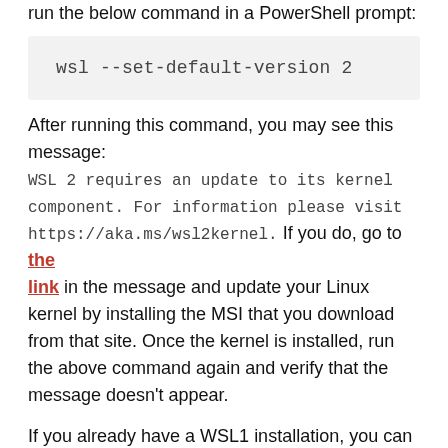run the below command in a PowerShell prompt:
wsl --set-default-version 2
After running this command, you may see this message: WSL 2 requires an update to its kernel component. For information please visit https://aka.ms/wsl2kernel. If you do, go to the link in the message and update your Linux kernel by installing the MSI that you download from that site. Once the kernel is installed, run the above command again and verify that the message doesn't appear.
If you already have a WSL1 installation, you can upgrade it to WSL2 using the below command and just replace <distribution name> with the name of the distro you want to use: